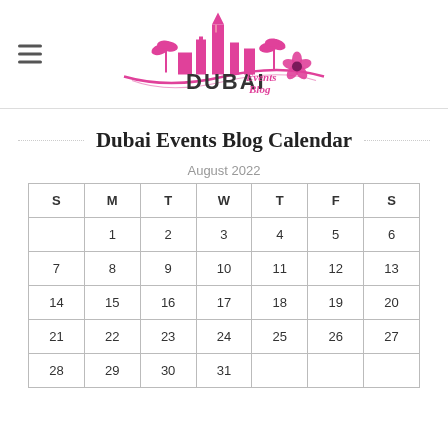[Figure (logo): Dubai Events Blog logo with pink cityscape silhouette including Burj Al Arab tower, palm trees, and pink hibiscus flower with script text 'Events Blog' and bold text 'DUBAI']
Dubai Events Blog Calendar
August 2022
| S | M | T | W | T | F | S |
| --- | --- | --- | --- | --- | --- | --- |
|  | 1 | 2 | 3 | 4 | 5 | 6 |
| 7 | 8 | 9 | 10 | 11 | 12 | 13 |
| 14 | 15 | 16 | 17 | 18 | 19 | 20 |
| 21 | 22 | 23 | 24 | 25 | 26 | 27 |
| 28 | 29 | 30 | 31 |  |  |  |